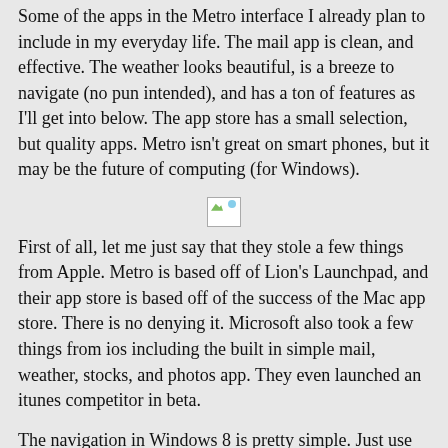Some of the apps in the Metro interface I already plan to include in my everyday life. The mail app is clean, and effective. The weather looks beautiful, is a breeze to navigate (no pun intended), and has a ton of features as I'll get into below. The app store has a small selection, but quality apps. Metro isn't great on smart phones, but it may be the future of computing (for Windows).
[Figure (photo): Broken/missing image placeholder]
First of all, let me just say that they stole a few things from Apple. Metro is based off of Lion's Launchpad, and their app store is based off of the success of the Mac app store. There is no denying it. Microsoft also took a few things from ios including the built in simple mail, weather, stocks, and photos app. They even launched an itunes competitor in beta.
The navigation in Windows 8 is pretty simple. Just use the corners to navigate between pages, or click on the app you want. I like going dual screen with one screen traditional, and the larger screen Metro. It suits my personal and profesional needs.
The weather app may be my favorite of the built in selection